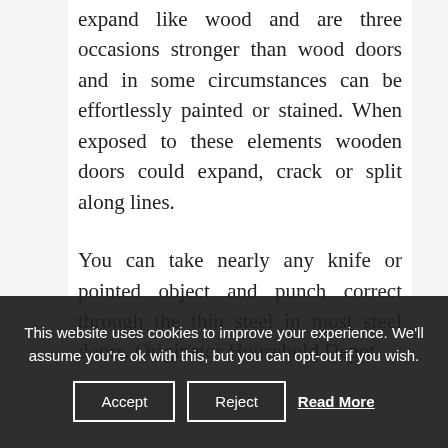expand like wood and are three occasions stronger than wood doors and in some circumstances can be effortlessly painted or stained. When exposed to these elements wooden doors could expand, crack or split along lines.

You can take nearly any knife or pointed object and punch correct through the thin steel in most steel doors. Originator Household Depot
This website uses cookies to improve your experience. We'll assume you're ok with this, but you can opt-out if you wish.
Accept   Reject   Read More